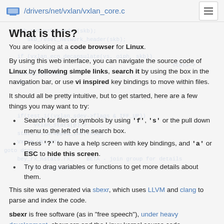/drivers/net/vxlan/vxlan_core.c
What is this?
You are looking at a code browser for Linux.
By using this web interface, you can navigate the source code of Linux by following simple links, search it by using the box in the navigation bar, or use vi inspired key bindings to move within files.
It should all be pretty intuitive, but to get started, here are a few things you may want to try:
Search for files or symbols by using 'f', 's' or the pull down menu to the left of the search box.
Press '?' to have a help screen with key bindings, and 'a' or ESC to hide this screen.
Try to drag variables or functions to get more details about them.
This site was generated via sbexr, which uses LLVM and clang to parse and index the code.
sbexr is free software (as in "free speech"), under heavy development, sbexr.org and the Linux kernel source code